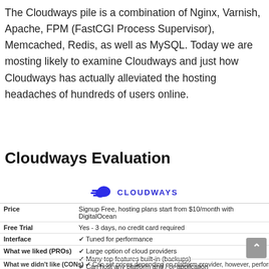The Cloudways pile is a combination of Nginx, Varnish, Apache, FPM (FastCGI Process Supervisor), Memcached, Redis, as well as MySQL. Today we are mosting likely to examine Cloudways and just how Cloudways has actually alleviated the hosting headaches of hundreds of users online.
Cloudways Evaluation
|  |  |
| --- | --- |
| Price | Signup Free, hosting plans start from $10/month with DigitalOcean |
| Free Trial | Yes - 3 days, no credit card required |
| Interface | ✔ Tuned for performance |
| What we liked (PROs) | ✔ Large option of cloud providers
✔ Many top features built-in (backups)
✔ Can host any platform and / or application
✔ Excellent support |
| What we didn't like (CONs) | Can set prices depending on platform provider, however, performance is excellent... |